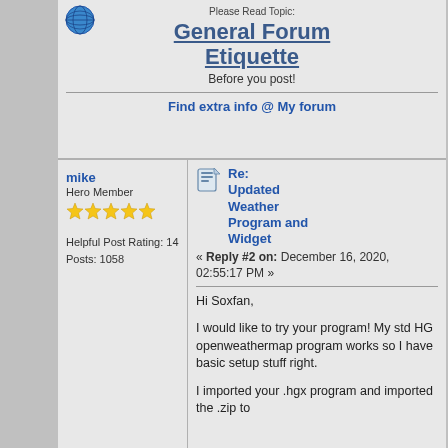Please Read Topic:
General Forum Etiquette
Before you post!
Find extra info @ My forum
mike
Hero Member
Helpful Post Rating: 14
Posts: 1058
Re: Updated Weather Program and Widget
« Reply #2 on: December 16, 2020, 02:55:17 PM »
Hi Soxfan,

I would like to try your program!  My std HG openweathermap program works so I have basic setup stuff right.

I imported your .hgx program and imported the .zip to